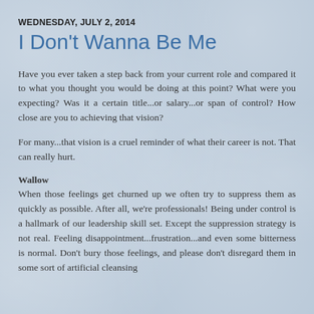WEDNESDAY, JULY 2, 2014
I Don't Wanna Be Me
Have you ever taken a step back from your current role and compared it to what you thought you would be doing at this point? What were you expecting? Was it a certain title...or salary...or span of control? How close are you to achieving that vision?
For many...that vision is a cruel reminder of what their career is not. That can really hurt.
Wallow
When those feelings get churned up we often try to suppress them as quickly as possible. After all, we're professionals! Being under control is a hallmark of our leadership skill set. Except the suppression strategy is not real. Feeling disappointment...frustration...and even some bitterness is normal. Don't bury those feelings, and please don't disregard them in some sort of artificial cleansing